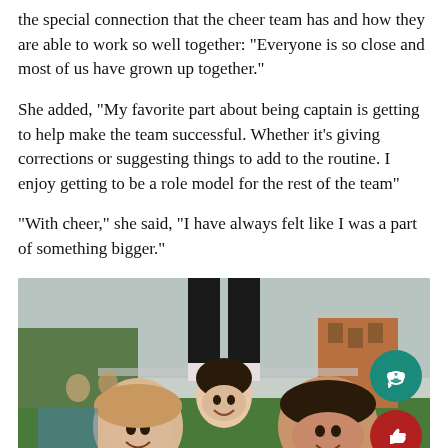the special connection that the cheer team has and how they are able to work so well together: “Everyone is so close and most of us have grown up together.”
She added, “My favorite part about being captain is getting to help make the team successful. Whether it’s giving corrections or suggesting things to add to the routine. I enjoy getting to be a role model for the rest of the team”
“With cheer,” she said, “I have always felt like I was a part of something bigger.”
[Figure (photo): Three cheerleaders smiling outdoors at a sports field, with one person being lifted above them (only legs visible). Buildings and trees visible in background. Two circular UI buttons overlaid: a teal speech bubble icon and a red thumbs-up icon.]